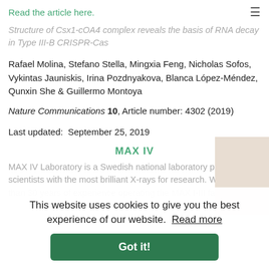Read the article here.
Structure of Csx1-cOA4 complex reveals the basis of RNA decay in Type III-B CRISPR-Cas
Rafael Molina, Stefano Stella, Mingxia Feng, Nicholas Sofos, Vykintas Jauniskis, Irina Pozdnyakova, Blanca López-Méndez, Qunxin She & Guillermo Montoya
Nature Communications 10, Article number: 4302 (2019)
Last updated:  September 25, 2019
This website uses cookies to give you the best experience of our website.  Read more
Got it!
MAX IV
MAX IV Laboratory is a Swedish national laboratory providing scientists with the most brilliant X-rays for research. With more than 30 years of experience operating the MAX I-III facilities it is